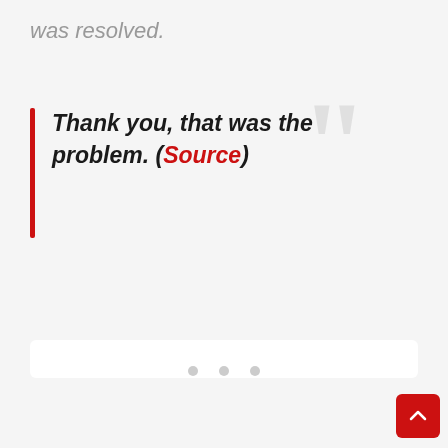was resolved.
Thank you, that was the problem. (Source)
[Figure (screenshot): UI panel with heart/like button showing 82 likes, share button, and back-to-top button]